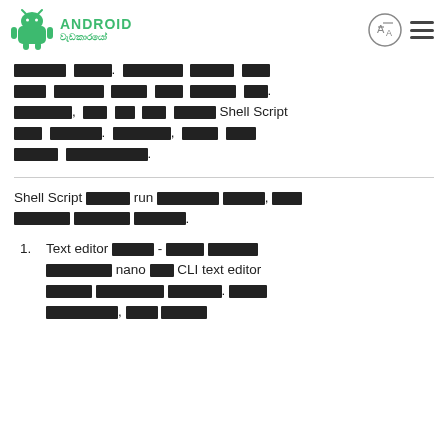ANDROID වැඩකාරයෝ
[Sinhala text block] Shell Script [Sinhala text] [Sinhala text].
Shell Script [Sinhala] run [Sinhala text], [Sinhala text] [Sinhala text] [Sinhala text].
1. Text editor [Sinhala] - [Sinhala text] [Sinhala text] nano [Sinhala] CLI text editor [Sinhala text] [Sinhala text]. [Sinhala text], [Sinhala text] [Sinhala text]